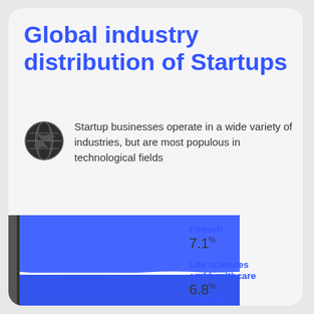Global industry distribution of Startups
Startup businesses operate in a wide variety of industries, but are most populous in technological fields
[Figure (other): Stacked area / stream chart showing global industry distribution of startups. Visible segments from top: Fintech 7.1%, Life sciences and healthcare 6.8%, Artificial Intelligence 5.0%. The chart is partially cropped at the bottom.]
Fintech
7.1%
Life sciences and healthcare
6.8%
Artificial Intelligence
5.0%